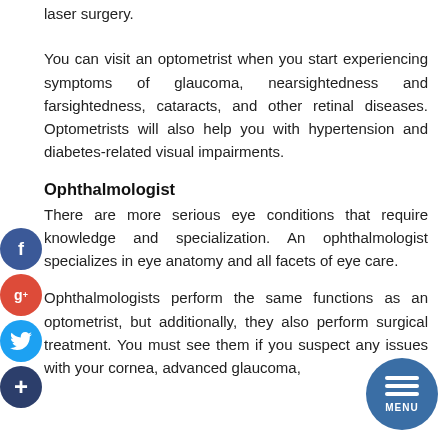laser surgery.
You can visit an optometrist when you start experiencing symptoms of glaucoma, nearsightedness and farsightedness, cataracts, and other retinal diseases. Optometrists will also help you with hypertension and diabetes-related visual impairments.
Ophthalmologist
There are more serious eye conditions that require knowledge and specialization. An ophthalmologist specializes in eye anatomy and all facets of eye care.
Ophthalmologists perform the same functions as an optometrist, but additionally, they also perform surgical treatment. You must see them if you suspect any issues with your cornea, advanced glaucoma,